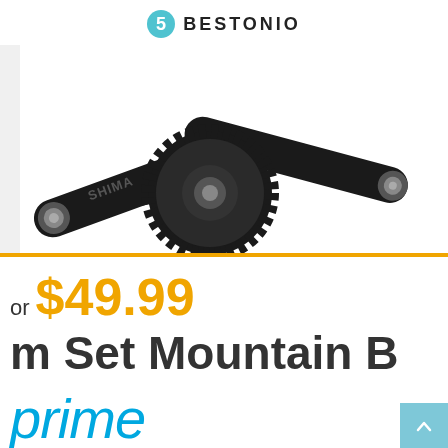BESTONIO
[Figure (photo): Shimano mountain bike crankset with chainring, black aluminum arms, silver bolt ends, on white background. Orange/amber horizontal bar at bottom edge of image.]
or $49.99
m Set Mountain B
prime